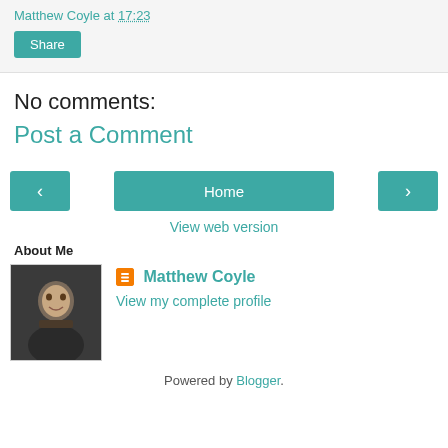Matthew Coyle at 17:23
Share
No comments:
Post a Comment
[Figure (other): Navigation buttons: left arrow, Home, right arrow]
View web version
About Me
[Figure (photo): Profile photo of Matthew Coyle]
Matthew Coyle
View my complete profile
Powered by Blogger.